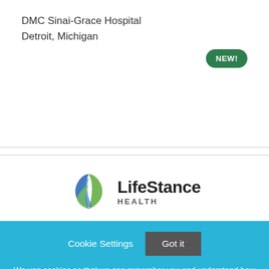DMC Sinai-Grace Hospital
Detroit, Michigan
[Figure (other): Green rounded badge with white bold text reading NEW!]
[Figure (logo): LifeStance Health logo with blue and green swoosh icon and bold text 'LifeStance HEALTH']
Cookie Settings   Got it
We use cookies so that we can remember you and understand how you use our site. If you do not agree with our use of cookies, please change the current settings found in our Cookie Policy. Otherwise, you agree to the use of the cookies as they are currently set.